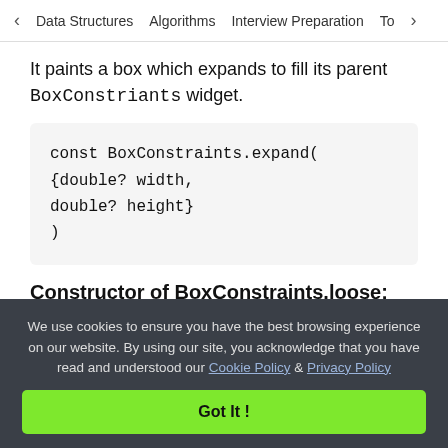< Data Structures   Algorithms   Interview Preparation   To>
It paints a box which expands to fill its parent BoxConstriants widget.
Constructor of BoxConstraints.loose:
It created a box which does not grow beyond the
We use cookies to ensure you have the best browsing experience on our website. By using our site, you acknowledge that you have read and understood our Cookie Policy & Privacy Policy
Got It !